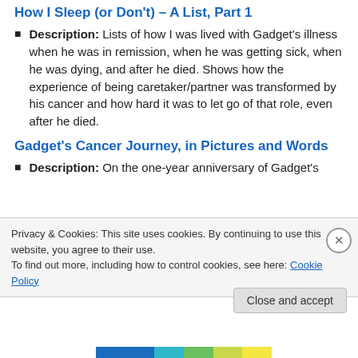How I Sleep (or Don't) – A List, Part 1
Description: Lists of how I was lived with Gadget's illness when he was in remission, when he was getting sick, when he was dying, and after he died. Shows how the experience of being caretaker/partner was transformed by his cancer and how hard it was to let go of that role, even after he died.
Gadget's Cancer Journey, in Pictures and Words
Description: On the one-year anniversary of Gadget's
Privacy & Cookies: This site uses cookies. By continuing to use this website, you agree to their use.
To find out more, including how to control cookies, see here: Cookie Policy
Close and accept